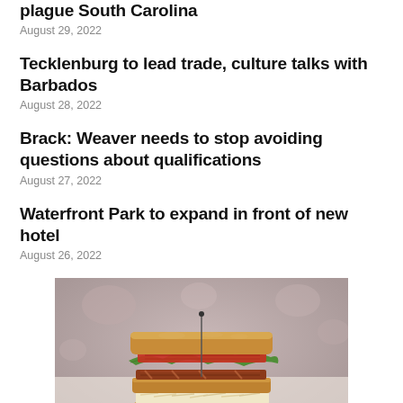plague South Carolina
August 29, 2022
Tecklenburg to lead trade, culture talks with Barbados
August 28, 2022
Brack: Weaver needs to stop avoiding questions about qualifications
August 27, 2022
Waterfront Park to expand in front of new hotel
August 26, 2022
[Figure (photo): A layered club sandwich with lettuce, tomato, and meat on toasted bread, served on a plate, with a blurred background.]